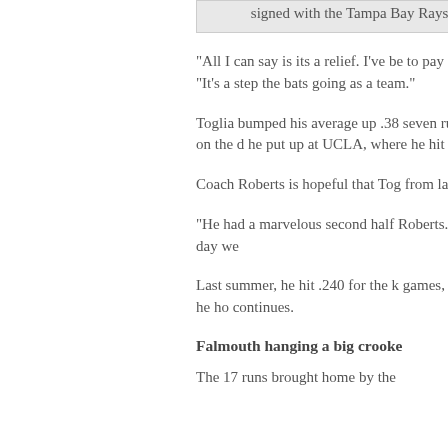signed with the Tampa Bay Rays Thursday.
“All I can say is its a relief. I’ve be to pay off,” said Toglia. “It’s a step the bats going as a team.”
Toglia bumped his average up .38 seven runs Cotuit scored on the d he put up at UCLA, where he hit . RBI’s.
Coach Roberts is hopeful that Tog from last season.
“He had a marvelous second half Roberts. “Today’s the first day we
Last summer, he hit .240 for the k games, which are numbers he ho continues.
Falmouth hanging a big crooke
The 17 runs brought home by the